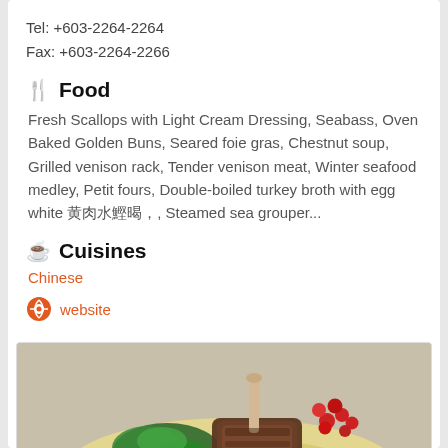Tel: +603-2264-2264
Fax: +603-2264-2266
Food
Fresh Scallops with Light Cream Dressing, Seabass, Oven Baked Golden Buns, Seared foie gras, Chestnut soup, Grilled venison rack, Tender venison meat, Winter seafood medley, Petit fours, Double-boiled turkey broth with egg white 鱼翅汤, Steamed sea grouper...
Cuisines
Chinese
website
[Figure (photo): A plated dish showing grilled venison rack with green vegetables (sautéed spinach/broccoli) and red berries on a cream/yellow sauce, presented on a light background.]